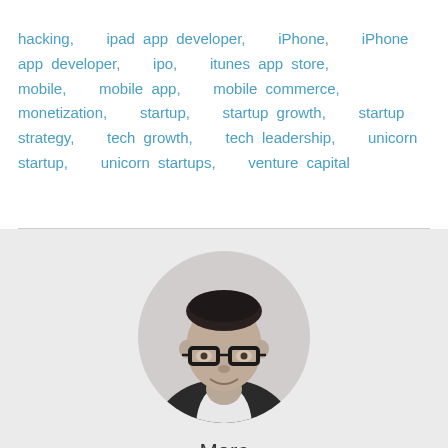hacking, ipad app developer, iPhone, iPhone app developer, ipo, itunes app store, mobile, mobile app, mobile commerce, monetization, startup, startup growth, startup strategy, tech growth, tech leadership, unicorn startup, unicorn startups, venture capital
[Figure (photo): Black and white circular portrait photo of a man named Marc wearing glasses and a dark blazer with white shirt, smiling]
Marc